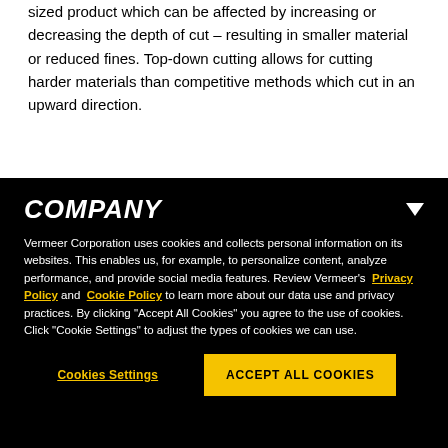sized product which can be affected by increasing or decreasing the depth of cut – resulting in smaller material or reduced fines. Top-down cutting allows for cutting harder materials than competitive methods which cut in an upward direction.
COMPANY
Vermeer Corporation uses cookies and collects personal information on its websites. This enables us, for example, to personalize content, analyze performance, and provide social media features. Review Vermeer's Privacy Policy and Cookie Policy to learn more about our data use and privacy practices. By clicking "Accept All Cookies" you agree to the use of cookies. Click "Cookie Settings" to adjust the types of cookies we can use.
Cookies Settings | ACCEPT ALL COOKIES